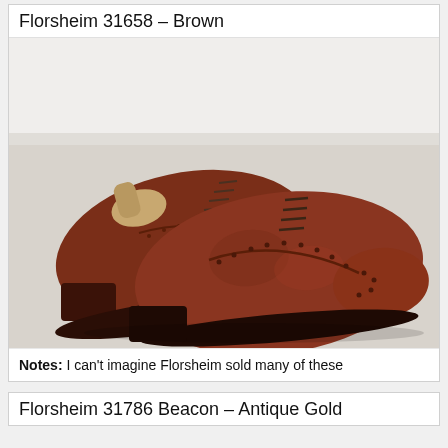Florsheim 31658 – Brown
[Figure (photo): Photo of a pair of brown Florsheim wingtip brogue dress shoes with textured leather uppers, displayed on a light surface against a white baseboard wall. A wooden shoe tree is visible in one shoe.]
Notes: I can't imagine Florsheim sold many of these
Florsheim 31786 Beacon – Antique Gold